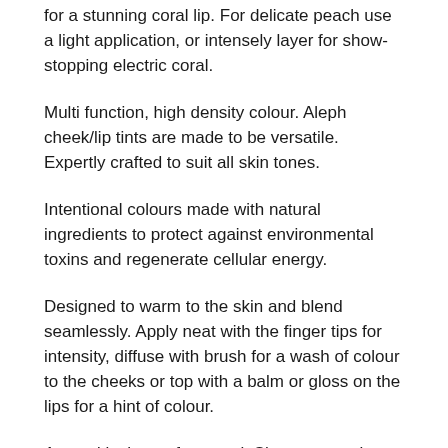for a stunning coral lip. For delicate peach use a light application, or intensely layer for show-stopping electric coral.
Multi function, high density colour. Aleph cheek/lip tints are made to be versatile. Expertly crafted to suit all skin tones.
Intentional colours made with natural ingredients to protect against environmental toxins and regenerate cellular energy.
Designed to warm to the skin and blend seamlessly. Apply neat with the finger tips for intensity, diffuse with brush for a wash of colour to the cheeks or top with a balm or gloss on the lips for a hint of colour.
Ascend is the perfect coral. Sheers out to be a clear, clean peach, or intensely applied becomes a stunning shade of electric coral.
NB. Ascend contains...